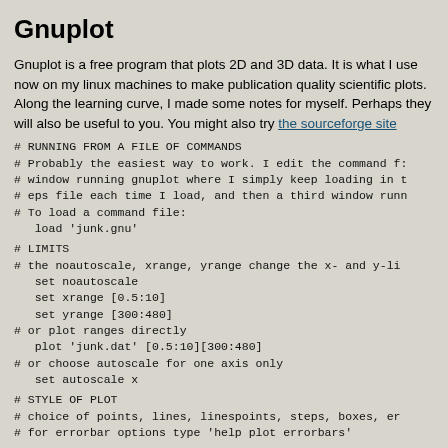Gnuplot
Gnuplot is a free program that plots 2D and 3D data. It is what I use now on my linux machines to make publication quality scientific plots. Along the learning curve, I made some notes for myself. Perhaps they will also be useful to you. You might also try the sourceforge site
# RUNNING FROM A FILE OF COMMANDS
# Probably the easiest way to work. I edit the command f:
# window running gnuplot where I simply keep loading in t
# eps file each time I load, and then a third window runn
# To load a command file:
   load 'junk.gnu'
# LIMITS
# the noautoscale, xrange, yrange change the x- and y-li
   set noautoscale
   set xrange [0.5:10]
   set yrange [300:480]
# or plot ranges directly
   plot 'junk.dat' [0.5:10][300:480]
# or choose autoscale for one axis only
   set autoscale x
# STYLE OF PLOT
# choice of points, lines, linespoints, steps, boxes, er
# for errorbar options type 'help plot errorbars'